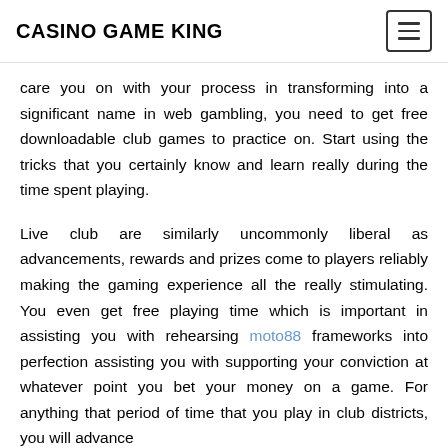CASINO GAME KING
…care you on with your process in transforming into a significant name in web gambling, you need to get free downloadable club games to practice on. Start using the tricks that you certainly know and learn really during the time spent playing.
Live club are similarly uncommonly liberal as advancements, rewards and prizes come to players reliably making the gaming experience all the really stimulating. You even get free playing time which is important in assisting you with rehearsing moto88 frameworks into perfection assisting you with supporting your conviction at whatever point you bet your money on a game. For anything that period of time that you play in club districts, you will advance…